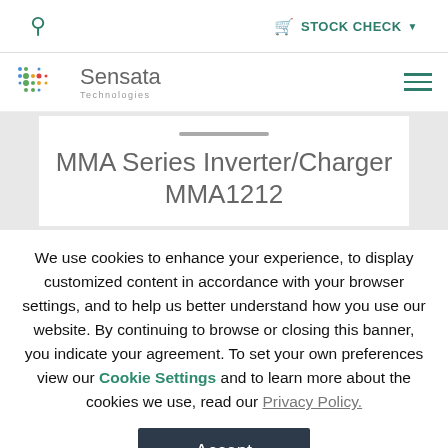🔍  🛒 STOCK CHECK ▾
[Figure (logo): Sensata Technologies logo with colorful dot grid pattern]
MMA Series Inverter/Charger MMA1212
We use cookies to enhance your experience, to display customized content in accordance with your browser settings, and to help us better understand how you use our website. By continuing to browse or closing this banner, you indicate your agreement. To set your own preferences view our Cookie Settings and to learn more about the cookies we use, read our Privacy Policy.
Accept